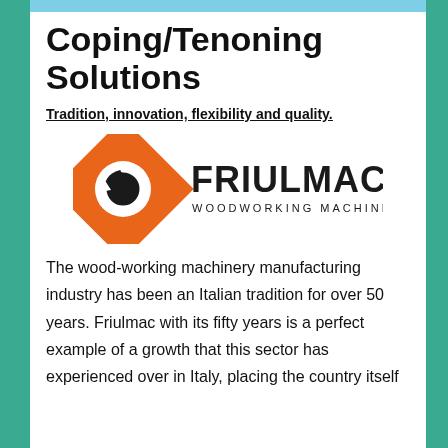Coping/Tenoning Solutions
Tradition, innovation, flexibility and quality.
[Figure (logo): Friulmac Woodworking Machinery logo: orange diamond shape with circular arrow icon on left, bold dark text FRIULMAC on right, subtitle WOODWORKING MACHINERY below]
The wood-working machinery manufacturing industry has been an Italian tradition for over 50 years. Friulmac with its fifty years is a perfect example of a growth that this sector has experienced over in Italy, placing the country itself